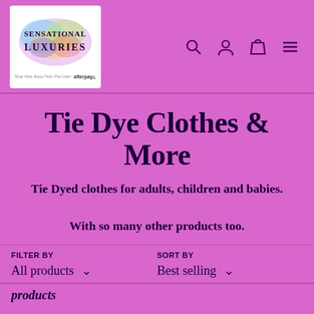[Figure (logo): Sensational Luxuries logo with colorful watercolor splash and afterpay branding]
Tie Dye Clothes & More
Tie Dyed clothes for adults, children and babies.

With so many other products too.
FILTER BY
All products
SORT BY
Best selling
products